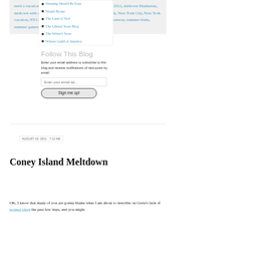need a vacation, New York, London 2012, London Olympics 2012, midtown Manhattan, midtown with a toddler, Mood, Mood Fabrics NYC, New York, New York City, New York vacation, NYC, Olympic coverage 2012, Olympics, Project Runway, summer blahs, summer games, Times Square, writing
Sleeping Should Be Easy
Strand Books
The Land of Nod
The Library Store Blog
The Writer's Store
Writers Guild of America
Follow This Blog
Enter your email address to subscribe to this blog and receive notifications of new posts by email.
AUGUST 19, 2011 · 7:12 AM
Coney Island Meltdown
OK, I know that many of you are gonna blame what I am about to describe on Greta's lack of normal sleep the past few days, and you might